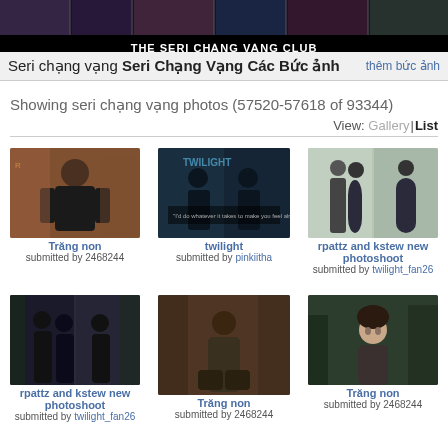THE SERI CHẠNG VẠNG CLUB
Seri chạng vạng Seri Chạng Vạng Các Bức ảnh
Showing seri chạng vạng photos (57520-57618 of 93344)
View: Gallery | List
[Figure (photo): Young man in black t-shirt at event]
Trăng non
submitted by 2468244
[Figure (photo): Twilight movie promotional image with text overlay]
twilight
submitted by pinkiitha
[Figure (photo): rpattz and kstew photoshoot - couple in formal attire outdoors]
rpattz and kstew new photoshoot
submitted by twilight_fan26
[Figure (photo): rpattz and kstew new photoshoot - romantic scene]
rpattz and kstew new photoshoot
submitted by twilight_fan26
[Figure (photo): Female character sitting pensively - Twilight movie still]
Trăng non
submitted by 2468244
[Figure (photo): Female character in forest - Twilight movie still]
Trăng non
submitted by 2468244
Trăng non
submitted by 2468244